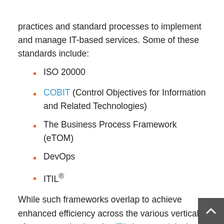practices and standard processes to implement and manage IT-based services. Some of these standards include:
ISO 20000
COBIT (Control Objectives for Information and Related Technologies)
The Business Process Framework (eTOM)
DevOps
ITIL®
While such frameworks overlap to achieve enhanced efficiency across the various verticals of your organization, the ITIL framework is the most globally recognized. ITIL focuses specifically on an IT service's lifecycle by fragmenting it into a sequence of five stag